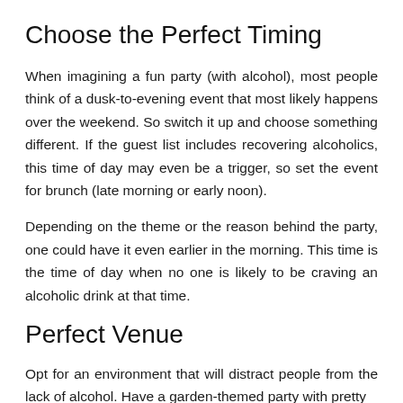Choose the Perfect Timing
When imagining a fun party (with alcohol), most people think of a dusk-to-evening event that most likely happens over the weekend. So switch it up and choose something different. If the guest list includes recovering alcoholics, this time of day may even be a trigger, so set the event for brunch (late morning or early noon).
Depending on the theme or the reason behind the party, one could have it even earlier in the morning. This time is the time of day when no one is likely to be craving an alcoholic drink at that time.
Perfect Venue
Opt for an environment that will distract people from the lack of alcohol. Have a garden-themed party with pretty